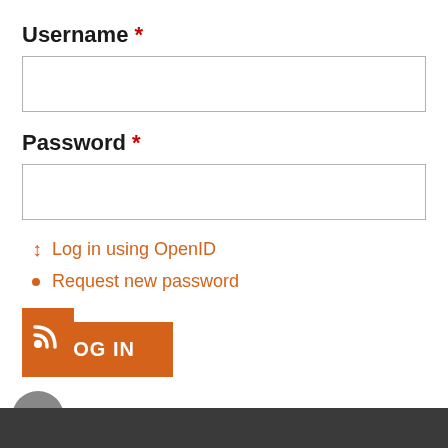Username *
[Figure (other): Username input text field (empty)]
Password *
[Figure (other): Password input text field (empty)]
Log in using OpenID
Request new password
[Figure (other): LOG IN orange button]
[Figure (other): RSS feed orange icon]
[Figure (other): Scroll to top grey circular button with upward chevron]